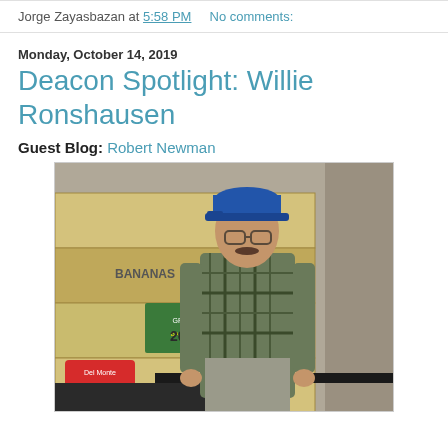Jorge Zayasbazan at 5:58 PM    No comments:
Monday, October 14, 2019
Deacon Spotlight: Willie Ronshausen
Guest Blog: Robert Newman
[Figure (photo): Man in blue cap and plaid shirt standing in front of stacked banana boxes (Del Monte brand), in what appears to be a food bank or warehouse setting.]